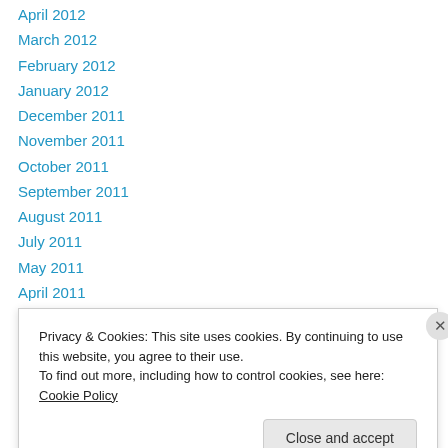April 2012
March 2012
February 2012
January 2012
December 2011
November 2011
October 2011
September 2011
August 2011
July 2011
May 2011
April 2011
March 2011
Privacy & Cookies: This site uses cookies. By continuing to use this website, you agree to their use.
To find out more, including how to control cookies, see here: Cookie Policy
Close and accept